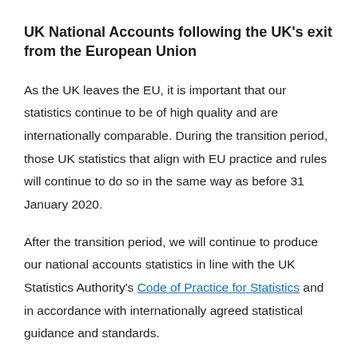UK National Accounts following the UK's exit from the European Union
As the UK leaves the EU, it is important that our statistics continue to be of high quality and are internationally comparable. During the transition period, those UK statistics that align with EU practice and rules will continue to do so in the same way as before 31 January 2020.
After the transition period, we will continue to produce our national accounts statistics in line with the UK Statistics Authority's Code of Practice for Statistics and in accordance with internationally agreed statistical guidance and standards.